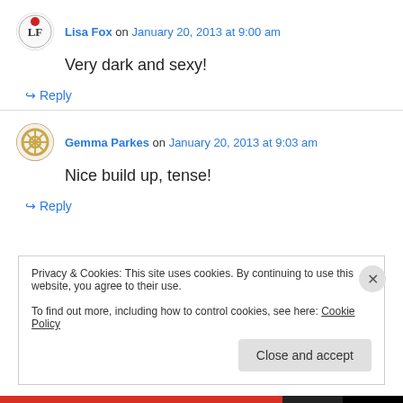Lisa Fox on January 20, 2013 at 9:00 am
Very dark and sexy!
↪ Reply
Gemma Parkes on January 20, 2013 at 9:03 am
Nice build up, tense!
↪ Reply
Privacy & Cookies: This site uses cookies. By continuing to use this website, you agree to their use. To find out more, including how to control cookies, see here: Cookie Policy
Close and accept